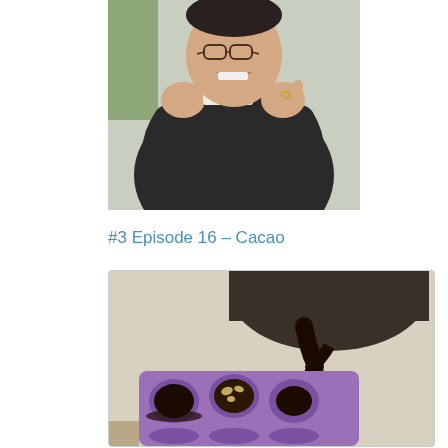[Figure (photo): A man with glasses eating something white, giving a thumbs up, wearing a dark shirt, in a kitchen setting.]
#3 Episode 16 – Cacao
[Figure (photo): Dark chocolate being poured from a pot into a purple silicone mold tray filled with nuts/toppings on a kitchen counter.]